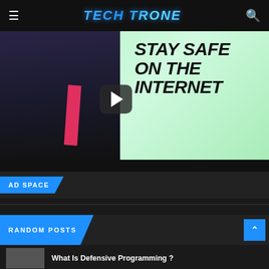TECH TRONE
[Figure (screenshot): YouTube-style video thumbnail showing a man in a suit with a red tie smiling, overlaid with bold italic text reading STAY SAFE ON THE INTERNET, and a play button in the center]
AD SPACE
RANDOM POSTS
What Is Defensive Programming ?